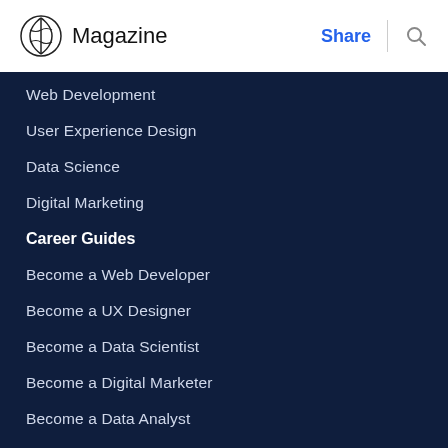Magazine | Share
Web Development
User Experience Design
Data Science
Digital Marketing
Career Guides
Become a Web Developer
Become a UX Designer
Become a Data Scientist
Become a Digital Marketer
Become a Data Analyst
View All >
Tutorials